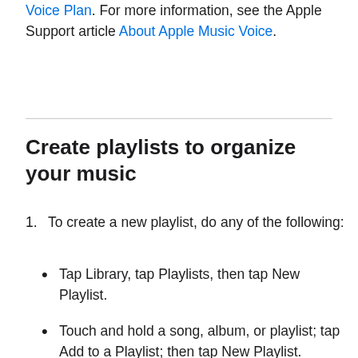Voice Plan. For more information, see the Apple Support article About Apple Music Voice.
Create playlists to organize your music
1. To create a new playlist, do any of the following:
Tap Library, tap Playlists, then tap New Playlist.
Touch and hold a song, album, or playlist; tap Add to a Playlist; then tap New Playlist.
On the Now Playing screen, tap •••, tap